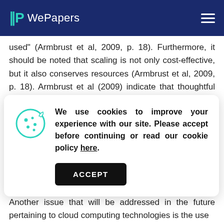WePapers
used" (Armbrust et al, 2009, p. 18). Furthermore, it should be noted that scaling is not only cost-effective, but it also conserves resources (Armbrust et al, 2009, p. 18). Armbrust et al (2009) indicate that thoughtful use of
We use cookies to improve your experience with our site. Please accept before continuing or read our cookie policy here.
ACCEPT
encourages computer programmers to pay attention to efficiency" (p. 18).
Another issue that will be addressed in the future pertaining to cloud computing technologies is the use